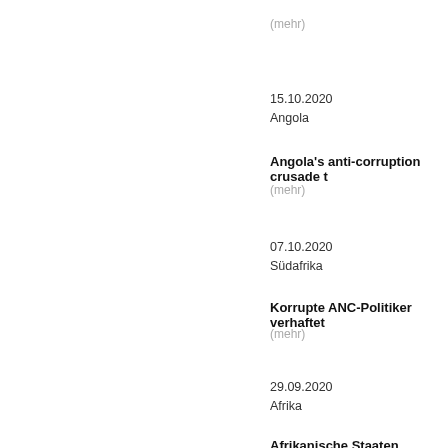(mehr)
15.10.2020
Angola
Angola's anti-corruption crusade ti
(mehr)
07.10.2020
Südafrika
Korrupte ANC-Politiker verhaftet
(mehr)
29.09.2020
Afrika
Afrikanische Staaten verlieren 89 M
(mehr)
25.09.2020
Congo DRC